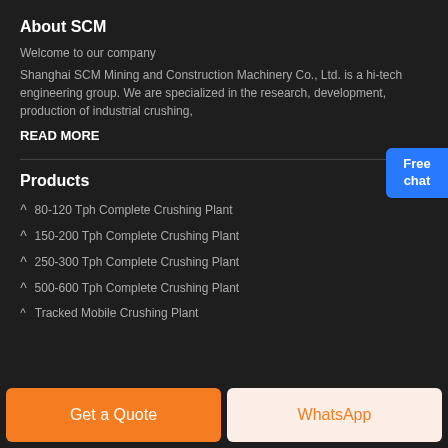About SCM
Welcome to our company
Shanghai SCM Mining and Construction Machinery Co., Ltd. is a hi-tech engineering group. We are specialized in the research, development, production of industrial crushing,
READ MORE
Products
80-120 Tph Complete Crushing Plant
150-200 Tph Complete Crushing Plant
250-300 Tph Complete Crushing Plant
500-600 Tph Complete Crushing Plant
Tracked Mobile Crushing Plant
[Figure (illustration): Free chat button with customer service representative icon]
Get a Quote
WhatsApp